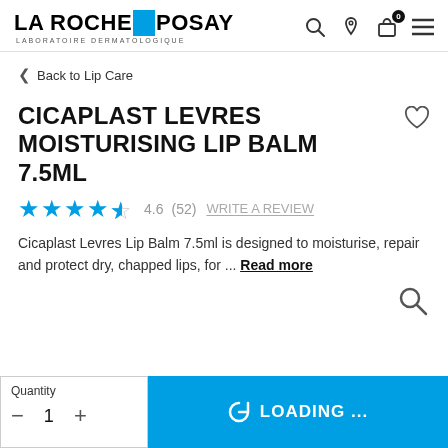LA ROCHE-POSAY LABORATOIRE DERMATOLOGIQUE
Back to Lip Care
CICAPLAST LEVRES MOISTURISING LIP BALM 7.5ML
4.6 (52) WRITE A REVIEW
Cicaplast Levres Lip Balm 7.5ml is designed to moisturise, repair and protect dry, chapped lips, for ... Read more
Quantity
LOADING ...